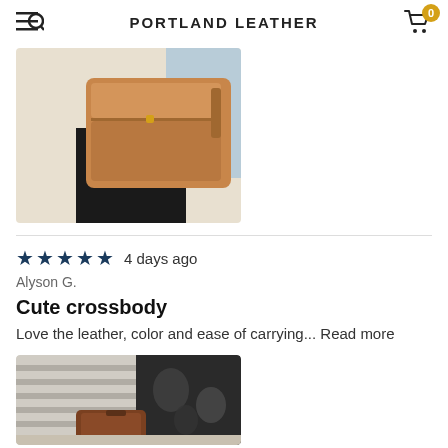PORTLAND LEATHER
[Figure (photo): Photo of a tan/cognac leather crossbody bag held against black pants and light background]
★★★★★ 4 days ago
Alyson G.
Cute crossbody
Love the leather, color and ease of carrying... Read more
[Figure (photo): Photo of a small brown leather crossbody bag resting on striped and patterned throw pillows on a couch]